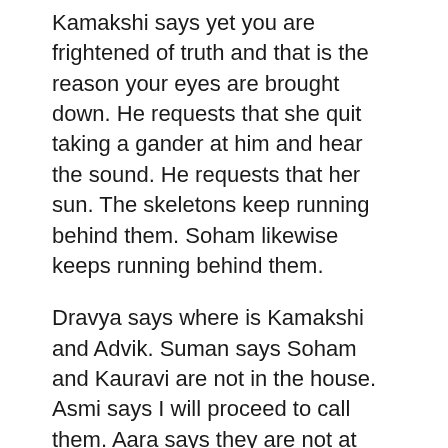Kamakshi says yet you are frightened of truth and that is the reason your eyes are brought down. He requests that she quit taking a gander at him and hear the sound. He requests that her sun. The skeletons keep running behind them. Soham likewise keeps running behind them.
Dravya says where is Kamakshi and Advik. Suman says Soham and Kauravi are not in the house. Asmi says I will proceed to call them. Aara says they are not at home and says she saw them going out. She says Kamakshi went with Kauravi and Soham. She says later Advik likewise went. Param asks when? Aara says they experienced the window. Asmi says I will proceed to check.